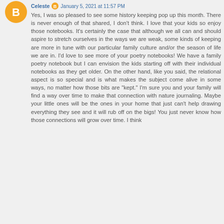[Figure (logo): Orange Blogger avatar icon — circle with white B letter]
January 5, 2021 at 11:57 PM
Yes, I was so pleased to see some history keeping pop up this month. There is never enough of that shared, I don't think. I love that your kids so enjoy those notebooks. It's certainly the case that although we all can and should aspire to stretch ourselves in the ways we are weak, some kinds of keeping are more in tune with our particular family culture and/or the season of life we are in. I'd love to see more of your poetry notebooks! We have a family poetry notebook but I can envision the kids starting off with their individual notebooks as they get older. On the other hand, like you said, the relational aspect is so special and is what makes the subject come alive in some ways, no matter how those bits are "kept." I'm sure you and your family will find a way over time to make that connection with nature journaling. Maybe your little ones will be the ones in your home that just can't help drawing everything they see and it will rub off on the bigs! You just never know how those connections will grow over time. I think